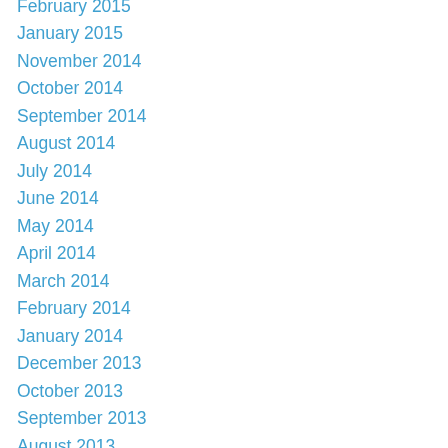February 2015
January 2015
November 2014
October 2014
September 2014
August 2014
July 2014
June 2014
May 2014
April 2014
March 2014
February 2014
January 2014
December 2013
October 2013
September 2013
August 2013
July 2013
June 2013
May 2013